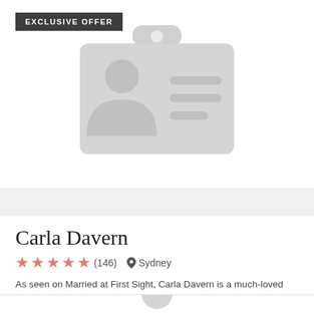[Figure (illustration): Placeholder profile/ID card icon in light gray, centered in the top card area. Shows a badge with a person silhouette on left and two lines on right.]
Carla Davern
★★★★★ (146)   📍 Sydney
As seen on Married at First Sight, Carla Davern is a much-loved Sydney marriage celebrant with a vibrant and bubbly personality. Carla specialise...
PRICE REQUEST
[Figure (illustration): Partial placeholder profile icon visible at bottom, cut off.]